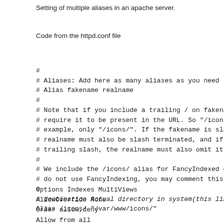Setting of multiple aliases in an apache server.
Code from the httpd.conf file
#
# Aliases: Add here as many aliases as you need (with no limit). The for
# Alias fakename realname
#
# Note that if you include a trailing / on fakename then the server will
# require it to be present in the URL. So "/icons" isn't aliased in this
# example, only "/icons/". If the fakename is slash-terminated, then the
# realname must also be slash terminated, and if the fakename omits th
# trailing slash, the realname must also omit it.
#
# We include the /icons/ alias for FancyIndexed directory listings. If you
# do not use FancyIndexing, you may comment this out.
#
# destination Actual directory in system(this line is added by narendra)
Alias /icons/ "/var/www/icons/"
Options Indexes MultiViews
AllowOverride None
Order allow,deny
Allow from all